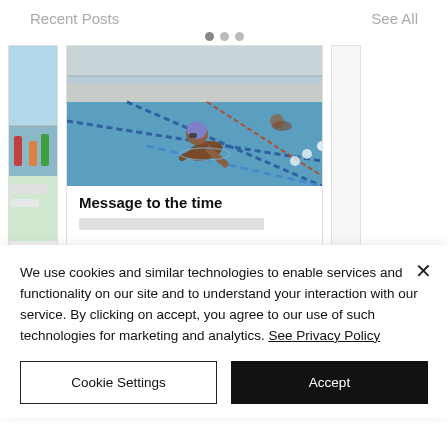Recent Posts
See All
[Figure (photo): Screenshot of a mobile app showing Recent Posts section with a photo of a swimmer in an outdoor pool, partially visible card on left and right. Below is a cookie consent banner.]
Message to the time
We use cookies and similar technologies to enable services and functionality on our site and to understand your interaction with our service. By clicking on accept, you agree to our use of such technologies for marketing and analytics. See Privacy Policy
Cookie Settings
Accept